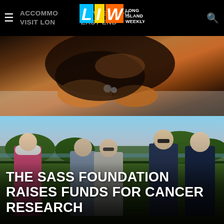ACCOMMODATIONS WHEN YOU VISIT LONG ISLAND EAST END
[Figure (photo): Close-up photo of a small dog (Yorkshire Terrier) lying down, showing its paws and fur with collar tags visible]
[Figure (photo): Five men standing together on a golf course, wearing golf attire (polo shirts in pink, blue-grey, white/grey, navy, and dark blue), with trees and sky in the background]
THE SASS FOUNDATION RAISES FUNDS FOR CANCER RESEARCH